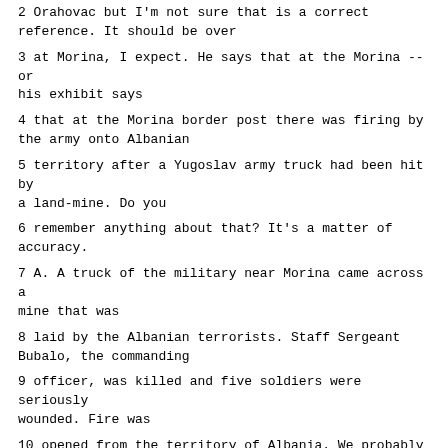2 Orahovac but I'm not sure that is a correct reference. It should be over
3 at Morina, I expect. He says that at the Morina -- or his exhibit says
4 that at the Morina border post there was firing by the army onto Albanian
5 territory after a Yugoslav army truck had been hit by a land-mine. Do you
6 remember anything about that? It's a matter of accuracy.
7 A. A truck of the military near Morina came across a mine that was
8 laid by the Albanian terrorists. Staff Sergeant Bubalo, the commanding
9 officer, was killed and five soldiers were seriously wounded. Fire was
10 opened from the territory of Albania. We probably have this in our tabs
11 here.
12 Q. And was the village the Albanian village of